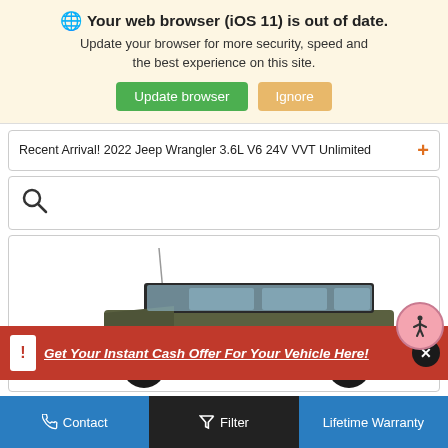Your web browser (iOS 11) is out of date. Update your browser for more security, speed and the best experience on this site.
Update browser | Ignore
Recent Arrival! 2022 Jeep Wrangler 3.6L V6 24V VVT Unlimited
[Figure (screenshot): Search icon (magnifying glass)]
[Figure (photo): 2022 Jeep Wrangler olive green SUV, front three-quarter view]
Get Your Instant Cash Offer For Your Vehicle Here!
Contact | Filter | Lifetime Warranty